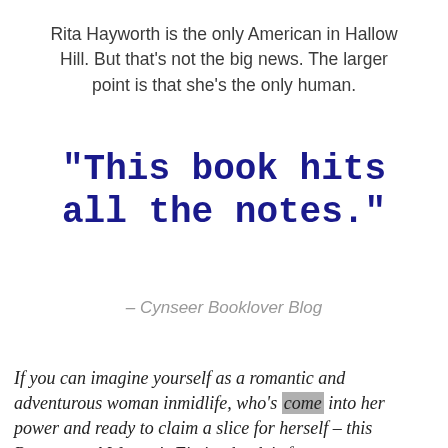Rita Hayworth is the only American in Hallow Hill. But that's not the big news. The larger point is that she's the only human.
"This book hits all the notes."
– Cynseer Booklover Blog
[Figure (screenshot): Orange Amazon 'Buy On Amazon' button with 'a' logo icon on left]
If you can imagine yourself as a romantic and adventurous woman inmidlife, who's come into her power and ready to claim a slice for herself – this Paranormal Women's Fiction book is for